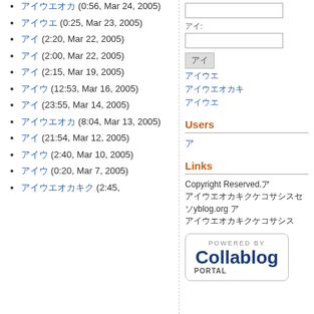nnnnnn (0:56, Mar 24, 2005)
nnnn (0:25, Mar 23, 2005)
nn (2:20, Mar 22, 2005)
nn (2:00, Mar 22, 2005)
nn (2:15, Mar 19, 2005)
nnn (12:53, Mar 16, 2005)
nn (23:55, Mar 14, 2005)
nnnnnn (8:04, Mar 13, 2005)
nn (21:54, Mar 12, 2005)
nnn (2:40, Mar 10, 2005)
nnn (0:20, Mar 7, 2005)
nnnnnnnn (2:45, ...
Users
n
Links
Copyright Reserved.n nnnnnnnnnnnnnnnyblog.org n nnnnnnnnnnnnnnnnnn
[Figure (logo): Powered by Collablog Portal logo badge with rounded rectangle border]